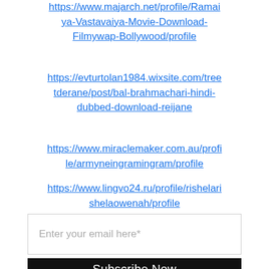https://www.majarch.net/profile/Ramaiya-Vastavaiya-Movie-Download-Filmywap-Bollywood/profile
https://evturtolan1984.wixsite.com/treetderane/post/bal-brahmachari-hindi-dubbed-download-reijane
https://www.miraclemaker.com.au/profile/armyneingramingram/profile
https://www.lingvo24.ru/profile/rishelarishelaowenah/profile
Enter your email here*
Subscribe Now